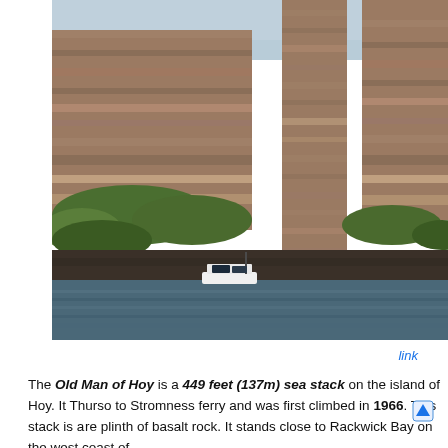[Figure (photo): Photograph of the Old Man of Hoy, a tall sea stack of layered red sandstone rising beside large coastal cliffs, with green vegetation at the base, and a small boat visible on the water below. Overcast sky in the background.]
link
The Old Man of Hoy is a 449 feet (137m) sea stack on the island of Hoy. It Thurso to Stromness ferry and was first climbed in 1966. This stack is a re plinth of basalt rock. It stands close to Rackwick Bay on the west coast of